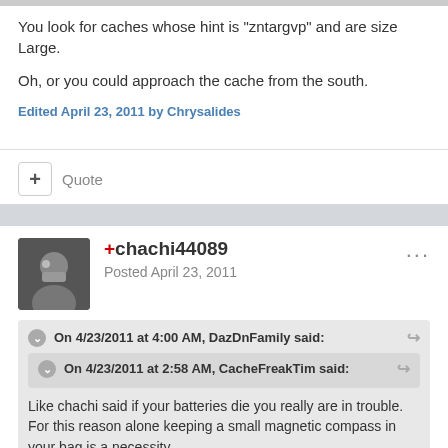You look for caches whose hint is "zntargvp" and are size Large.
Oh, or you could approach the cache from the south.
Edited April 23, 2011 by Chrysalides
+ Quote
+chachi44089
Posted April 23, 2011
On 4/23/2011 at 4:00 AM, DazDnFamily said:
On 4/23/2011 at 2:58 AM, CacheFreakTim said:
Like chachi said if your batteries die you really are in trouble. For this reason alone keeping a small magnetic compass in your bag is a necessity.